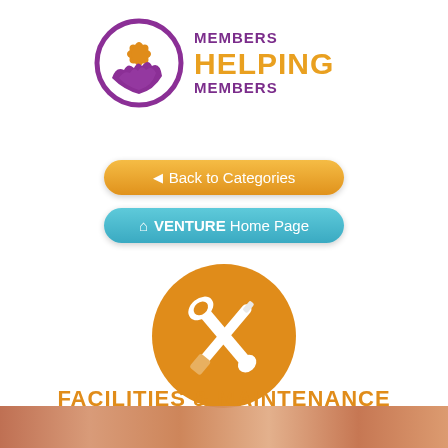[Figure (logo): Members Helping Members logo with a circular emblem showing stylized hands and a sun/flower motif in purple and orange, with text 'MEMBERS HELPING MEMBERS' beside it]
[Figure (other): Orange rounded button with left arrow and text 'Back to Categories']
[Figure (other): Teal/blue rounded button with house icon and text 'VENTURE Home Page']
[Figure (illustration): Orange circle icon with crossed screwdriver and wrench tools in white, representing Facilities & Maintenance]
FACILITIES & MAINTENANCE
[Figure (photo): Bottom strip showing a blurred warm-toned photographic image strip]